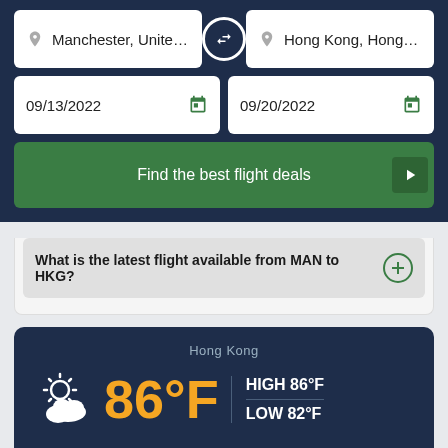Manchester, United King
Hong Kong, Hong Kon
09/13/2022
09/20/2022
Find the best flight deals
What is the latest flight available from MAN to HKG?
Hong Kong
86°F
HIGH 86°F
LOW 82°F
Average Temperature °F